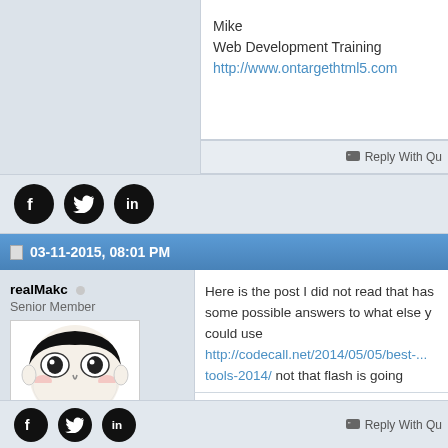Mike
Web Development Training
http://www.ontargethtml5.com
Reply With Quote
[Figure (illustration): Social media icons: Facebook, Twitter, LinkedIn (black circles)]
03-11-2015, 08:01 PM
realMakc
Senior Member
Join Date: Oct 2002
Posts: 927
[Figure (illustration): Meme face avatar - laughing man cartoon]
Here is the post I did not read that has some possible answers to what else you could use http://codecall.net/2014/05/05/best-...tools-2014/ not that flash is going anywhere, they are pimping canvas/webgl targets now.
who is this? a word of friendly advice:
FFS stop using AS2 :)
Reply With Quote
[Figure (illustration): Social media icons: Facebook, Twitter, LinkedIn (black circles)]